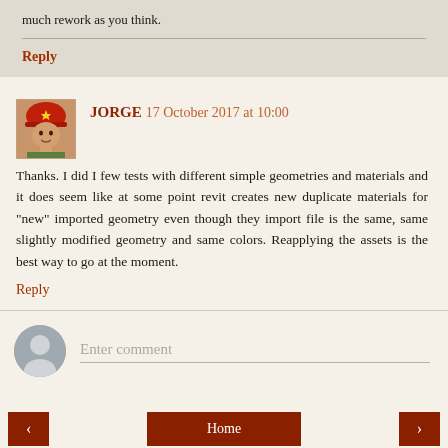much rework as you think.
Reply
JORGE  17 October 2017 at 10:00
Thanks. I did I few tests with different simple geometries and materials and it does seem like at some point revit creates new duplicate materials for "new" imported geometry even though they import file is the same, same slightly modified geometry and same colors. Reapplying the assets is the best way to go at the moment.
Reply
Enter comment
Home